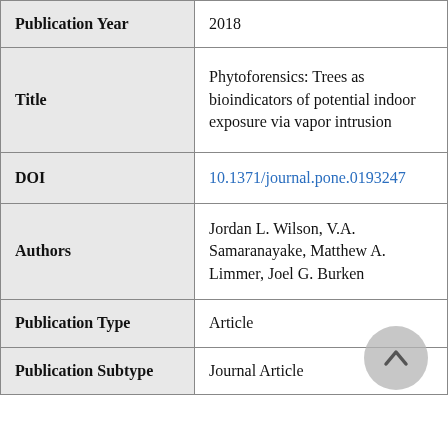| Field | Value |
| --- | --- |
| Publication Year | 2018 |
| Title | Phytoforensics: Trees as bioindicators of potential indoor exposure via vapor intrusion |
| DOI | 10.1371/journal.pone.0193247 |
| Authors | Jordan L. Wilson, V.A. Samaranayake, Matthew A. Limmer, Joel G. Burken |
| Publication Type | Article |
| Publication Subtype | Journal Article |